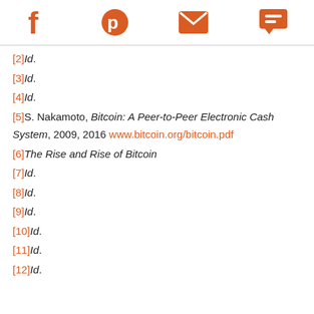[social share icons: Facebook, Pinterest, Email, Chat]
[2]Id.
[3]Id.
[4]Id.
[5]S. Nakamoto, Bitcoin: A Peer-to-Peer Electronic Cash System, 2009, 2016 www.bitcoin.org/bitcoin.pdf
[6]The Rise and Rise of Bitcoin
[7]Id.
[8]Id.
[9]Id.
[10]Id.
[11]Id.
[12]Id.